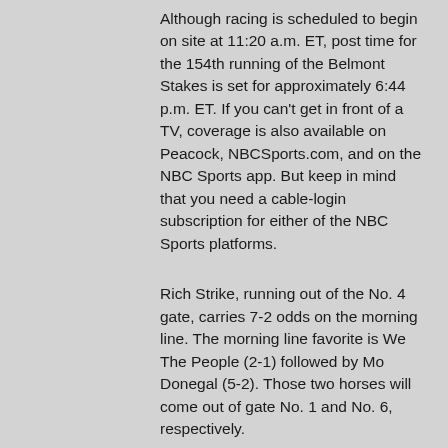Although racing is scheduled to begin on site at 11:20 a.m. ET, post time for the 154th running of the Belmont Stakes is set for approximately 6:44 p.m. ET. If you can't get in front of a TV, coverage is also available on Peacock, NBCSports.com, and on the NBC Sports app. But keep in mind that you need a cable-login subscription for either of the NBC Sports platforms.
Rich Strike, running out of the No. 4 gate, carries 7-2 odds on the morning line. The morning line favorite is We The People (2-1) followed by Mo Donegal (5-2). Those two horses will come out of gate No. 1 and No. 6, respectively.
Horse racing fans aren't going to watch a racehorse win the Triple Crown in 2022, but there are still plenty of reasons to be excited about the 2022 Belmont Stakes.